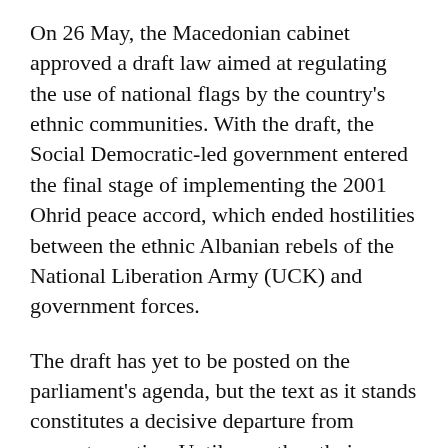On 26 May, the Macedonian cabinet approved a draft law aimed at regulating the use of national flags by the country's ethnic communities. With the draft, the Social Democratic-led government entered the final stage of implementing the 2001 Ohrid peace accord, which ended hostilities between the ethnic Albanian rebels of the National Liberation Army (UCK) and government forces.
The draft has yet to be posted on the parliament's agenda, but the text as it stands constitutes a decisive departure from current practice. Until now, the ethnic minorities have been prohibited from using their national flags in public and on the buildings of state institutions. Although the law pertains to all "ethnic communities," it is clear that it is the 23-percent Albanian minority that profits most from the new regulations.